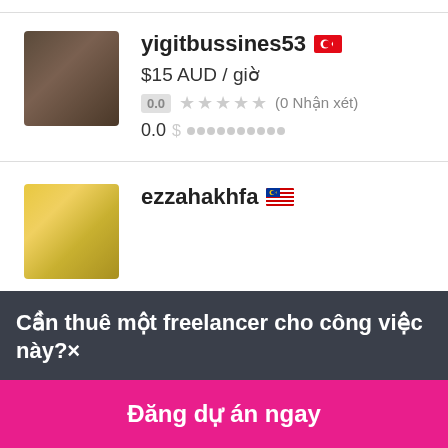[Figure (photo): Profile photo of yigitbussines53, a person with dark hair]
yigitbussines53 🇹🇷
$15 AUD / giờ
0.0 ★★★★★ (0 Nhận xét)
0.0 $ ██████████
[Figure (photo): Profile photo of ezzahakhfa, yellow/illustrated avatar]
ezzahakhfa 🇲🇾
Cần thuê một freelancer cho công việc này?×
Đăng dự án ngay